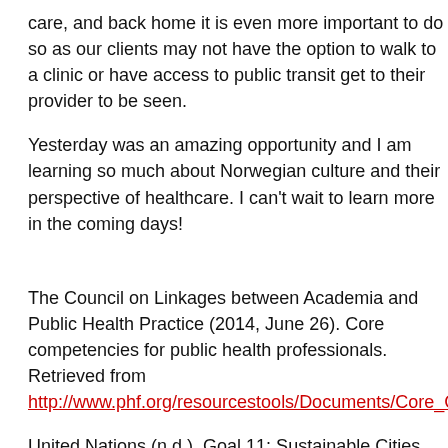care, and back home it is even more important to do so as our clients may not have the option to walk to a clinic or have access to public transit get to their provider to be seen.
Yesterday was an amazing opportunity and I am learning so much about Norwegian culture and their perspective of healthcare. I can't wait to learn more in the coming days!
The Council on Linkages between Academia and Public Health Practice (2014, June 26). Core competencies for public health professionals. Retrieved from http://www.phf.org/resourcestools/Documents/Core_Co
United Nations (n.d.). Goal 11: Sustainable Cities and Communities. Retrieved from https://www.un.org/sustainabledevelopment/cities/